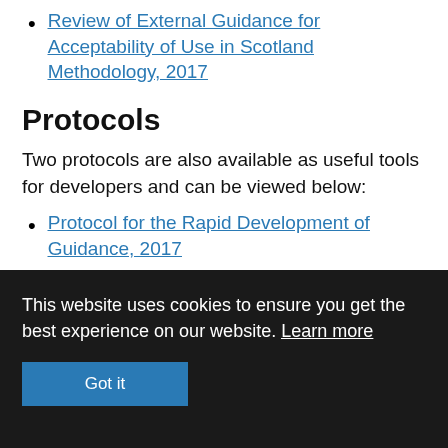Review of External Guidance for Acceptability of Use in Scotland Methodology, 2017
Protocols
Two protocols are also available as useful tools for developers and can be viewed below:
Protocol for the Rapid Development of Guidance, 2017
Protocol for the Development of Consensus Based Recommendations, 2018
This website uses cookies to ensure you get the best experience on our website. Learn more
Got it